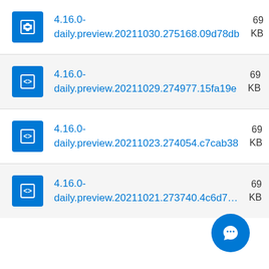4.16.0-daily.preview.20211030.275168.09d78db  69 KB
4.16.0-daily.preview.20211029.274977.15fa19e  69 KB
4.16.0-daily.preview.20211023.274054.c7cab38  69 KB
4.16.0-daily.preview.20211021.273740.4c6d7...  69 KB